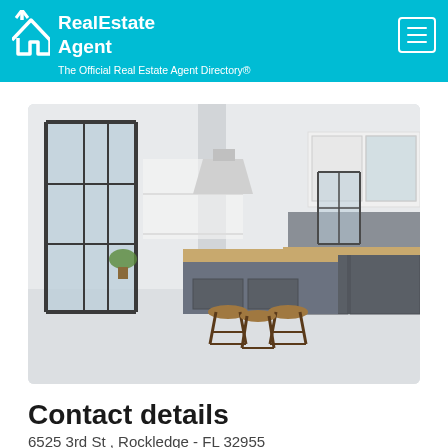RealEstate Agent — The Official Real Estate Agent Directory®
[Figure (photo): Interior photo of a modern kitchen with a large island, industrial bar stools, dark grey cabinetry, white upper cabinets, wood countertops, open shelving with plants, and a large steel-framed window on the left.]
Contact details
6525 3rd St , Rockledge - FL 32955